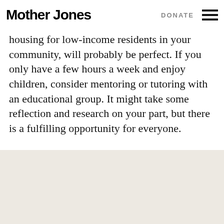Mother Jones  DONATE
housing for low-income residents in your community, will probably be perfect. If you only have a few hours a week and enjoy children, consider mentoring or tutoring with an educational group. It might take some reflection and research on your part, but there is a fulfilling opportunity for everyone.